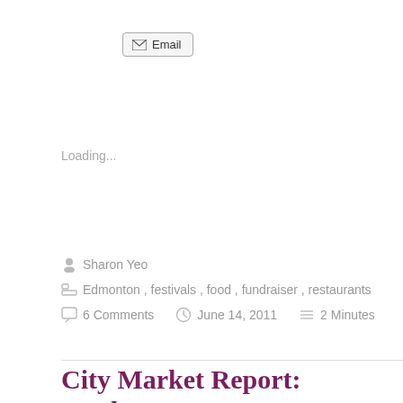Email
Loading...
Sharon Yeo
Edmonton, festivals, food, fundraiser, restaurants
6 Comments   June 14, 2011   2 Minutes
City Market Report: Week 4
It was another busy Saturday in Edmonton! It’s great when there are so many options that you’re forced to